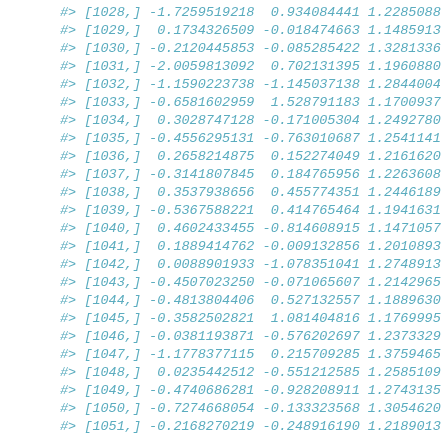#> [1028,] -1.7259519218  0.934084441 1.2285088
#> [1029,]  0.1734326509 -0.018474663 1.1485913
#> [1030,] -0.2120445853 -0.085285422 1.3281336
#> [1031,] -2.0059813092  0.702131395 1.1960880
#> [1032,] -1.1590223738 -1.145037138 1.2844004
#> [1033,] -0.6581602959  1.528791183 1.1700937
#> [1034,]  0.3028747128 -0.171005304 1.2492780
#> [1035,] -0.4556295131 -0.763010687 1.2541141
#> [1036,]  0.2658214875  0.152274049 1.2161620
#> [1037,] -0.3141807845  0.184765956 1.2263608
#> [1038,]  0.3537938656  0.455774351 1.2446189
#> [1039,] -0.5367588221  0.414765464 1.1941631
#> [1040,]  0.4602433455 -0.814608915 1.1471057
#> [1041,]  0.1889414762 -0.009132856 1.2010893
#> [1042,]  0.0088901933 -1.078351041 1.2748913
#> [1043,] -0.4507023250 -0.071065607 1.2142965
#> [1044,] -0.4813804406  0.527132557 1.1889630
#> [1045,] -0.3582502821  1.081404816 1.1769995
#> [1046,] -0.0381193871 -0.576202697 1.2373329
#> [1047,] -1.1778377115  0.215709285 1.3759465
#> [1048,]  0.0235442512 -0.551212585 1.2585109
#> [1049,] -0.4740686281 -0.928208911 1.2743135
#> [1050,] -0.7274668054 -0.133323568 1.3054620
#> [1051,] -0.2168270219 -0.248916190 1.2189013